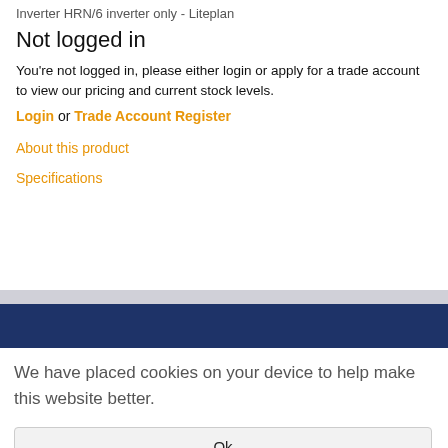Inverter HRN/6 inverter only - Liteplan
Not logged in
You're not logged in, please either login or apply for a trade account to view our pricing and current stock levels.
Login or Trade Account Register
About this product
Specifications
We have placed cookies on your device to help make this website better.
Ok